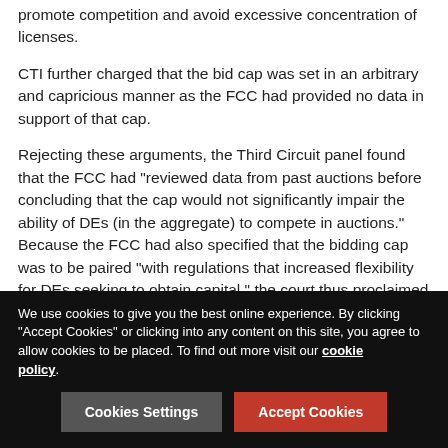promote competition and avoid excessive concentration of licenses.
CTI further charged that the bid cap was set in an arbitrary and capricious manner as the FCC had provided no data in support of that cap.
Rejecting these arguments, the Third Circuit panel found that the FCC had “reviewed data from past auctions before concluding that the cap would not significantly impair the ability of DEs (in the aggregate) to compete in auctions.” Because the FCC had also specified that the bidding cap was to be paired “with regulations that increased flexibility for DEs seeking to obtain capital,” the court thus proclaimed that the FCC “not only set forth a policy that is likely to allow continued participation by DEs, but also rationally explained why it expected no significant loss of DE participation.” Although the FCC offered...
We use cookies to give you the best online experience. By clicking “Accept Cookies” or clicking into any content on this site, you agree to allow cookies to be placed. To find out more visit our cookie policy.